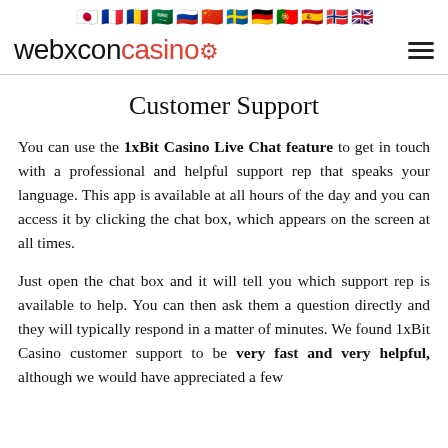webxconcasino — flags row and logo header
Customer Support
You can use the 1xBit Casino Live Chat feature to get in touch with a professional and helpful support rep that speaks your language. This app is available at all hours of the day and you can access it by clicking the chat box, which appears on the screen at all times.
Just open the chat box and it will tell you which support rep is available to help. You can then ask them a question directly and they will typically respond in a matter of minutes. We found 1xBit Casino customer support to be very fast and very helpful, although we would have appreciated a few